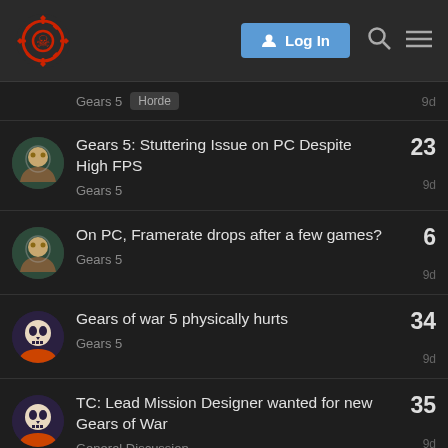Gears of War forum — Log In
Gears 5  Horde  9d
Gears 5: Stuttering Issue on PC Despite High FPS — Gears 5 — 9d — 23
On PC, Framerate drops after a few games? — Gears 5 — 9d — 6
Gears of war 5 physically hurts — Gears 5 — 9d — 34
TC: Lead Mission Designer wanted for new Gears of War — General Discussion — 9d — 35